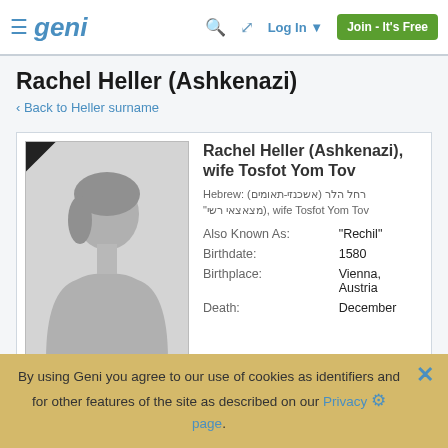Geni — Log In | Join - It's Free
Rachel Heller (Ashkenazi)
‹ Back to Heller surname
[Figure (photo): Female silhouette placeholder profile photo with black ribbon corner]
Rachel Heller (Ashkenazi), wife Tosfot Yom Tov
Hebrew: רחל הלר (אשכנזי-תאומים), מצאצאי רש"י, wife Tosfot Yom Tov
Also Known As: "Rechil"
Birthdate: 1580
Birthplace: Vienna, Austria
Death: December
By using Geni you agree to our use of cookies as identifiers and for other features of the site as described on our Privacy page.